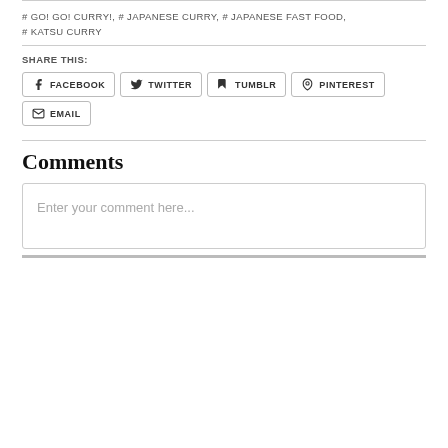# GO! GO! CURRY!, # JAPANESE CURRY, # JAPANESE FAST FOOD, # KATSU CURRY
SHARE THIS:
FACEBOOK  TWITTER  TUMBLR  PINTEREST  EMAIL
Comments
Enter your comment here...